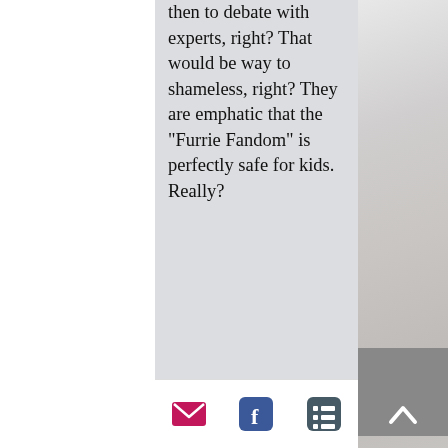then to debate with experts, right? That would be way to shameless, right? They are emphatic that the "Furrie Fandom" is perfectly safe for kids. Really?
These young people... who were
[email icon] [facebook icon] [list icon]